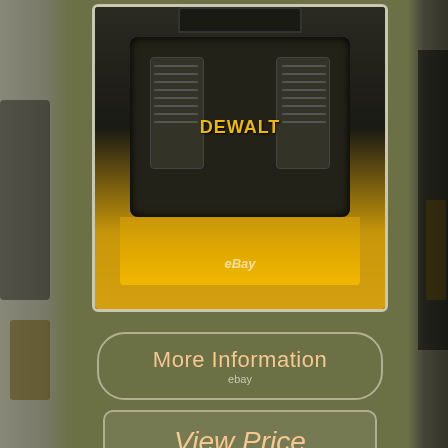[Figure (photo): DEWALT DCC2560T1 Flexvolt 2.5 Gallon Cordless Air Compressor product photo showing the black and yellow compressor unit from above, with eBay watermark visible on the yellow tank bottom]
More Information
ebay
View Price
ebay
DEWALT DCC2560T1 Flexvolt 2.5 Gallon Cordless Air Compressor - Battery & Charger. The 60V MAX FLEXVOLT 2.5 Gallon Cordless Air